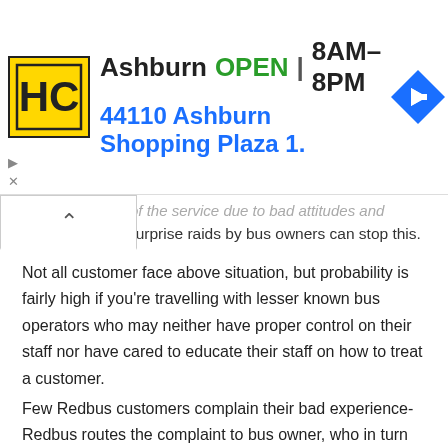[Figure (infographic): Advertisement banner: HC logo in yellow square, text 'Ashburn OPEN 8AM-8PM' and '44110 Ashburn Shopping Plaza 1.' with navigation arrow icon on the right]
...of the service due to bad attitudes and mentality of some bus crew. Only surprise raids by bus owners can stop this.
Not all customer face above situation, but probability is fairly high if you're travelling with lesser known bus operators who may neither have proper control on their staff nor have cared to educate their staff on how to treat a customer.
Few Redbus customers complain their bad experience-Redbus routes the complaint to bus owner, who in turn ask the same staff for an explanation. Any cooked up explanation given by these people will be promptly relayed back to the customer. Some readymade excuses are “That bus had a technical issue, so we had to send them in an alternate bus”, “there was some confusion regarding boarding point-we weren’t correctly informed” and such. If Redbus can afford to send some ground